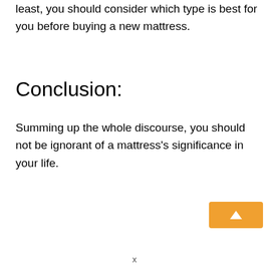least, you should consider which type is best for you before buying a new mattress.
Conclusion:
Summing up the whole discourse, you should not be ignorant of a mattress’s significance in your life.